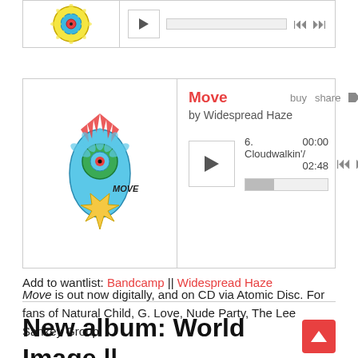[Figure (screenshot): Bandcamp music player widget (top, partial) showing album art and playback controls]
[Figure (screenshot): Bandcamp music player widget for 'Move' by Widespread Haze, showing track 6 'Cloudwalkin'' at 00:00/02:48, with play button and progress bar]
Move is out now digitally, and on CD via Atomic Disc. For fans of Natural Child, G. Love, Nude Party, The Lee Sankey Group.
Add to wantlist: Bandcamp || Widespread Haze
New album: World Image || World Image